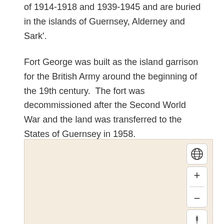of 1914-1918 and 1939-1945 and are buried in the islands of Guernsey, Alderney and Sark'.
Fort George was built as the island garrison for the British Army around the beginning of the 19th century.  The fort was decommissioned after the Second World War and the land was transferred to the States of Guernsey in 1958.
[Figure (map): An interactive map with a beige/cream background showing map controls: a globe icon button, zoom in (+) and zoom out (-) buttons combined in one control, and a compass/navigation button.]